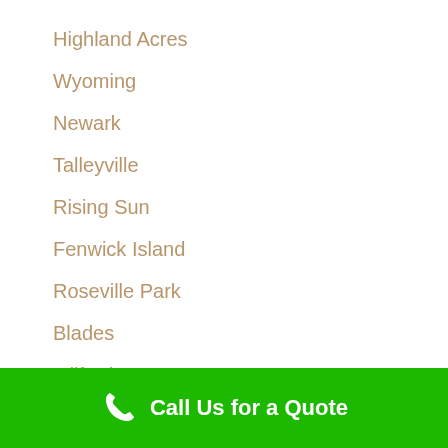Highland Acres
Wyoming
Newark
Talleyville
Rising Sun
Fenwick Island
Roseville Park
Blades
Milford
Stanton
Holly Oak
Call Us for a Quote